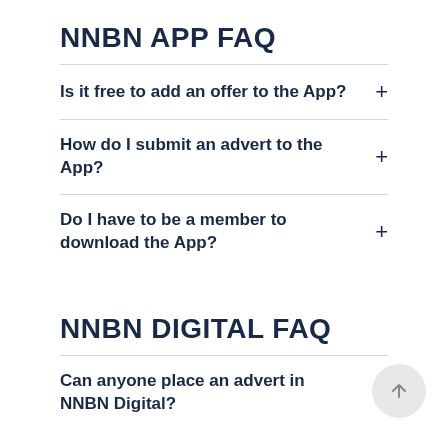NNBN APP FAQ
Is it free to add an offer to the App?
How do I submit an advert to the App?
Do I have to be a member to download the App?
NNBN DIGITAL FAQ
Can anyone place an advert in NNBN Digital?